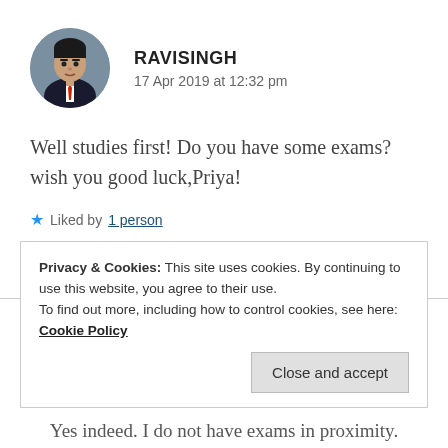[Figure (photo): Circular avatar photo of a man in a dark suit with a red tie]
RAVISINGH
17 Apr 2019 at 12:32 pm
Well studies first! Do you have some exams? wish you good luck,Priya!
★ Liked by 1 person
REPLY
Privacy & Cookies: This site uses cookies. By continuing to use this website, you agree to their use.
To find out more, including how to control cookies, see here: Cookie Policy
Close and accept
Yes indeed. I do not have exams in proximity.